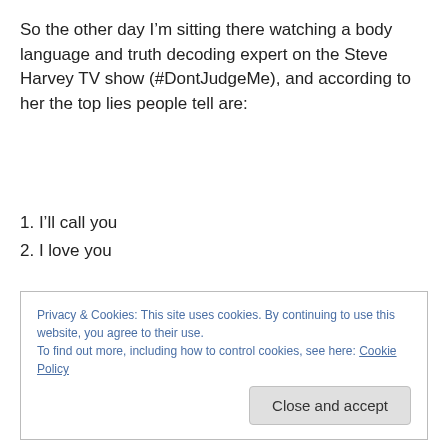So the other day I'm sitting there watching a body language and truth decoding expert on the Steve Harvey TV show (#DontJudgeMe), and according to her the top lies people tell are:
1. I'll call you
2. I love you
I believe it. If I have to pick one to hear I'd really rather have someone tell me lie #2 because as far I'm concerned, it is easy to disprove. The way you treat me
Privacy & Cookies: This site uses cookies. By continuing to use this website, you agree to their use.
To find out more, including how to control cookies, see here: Cookie Policy